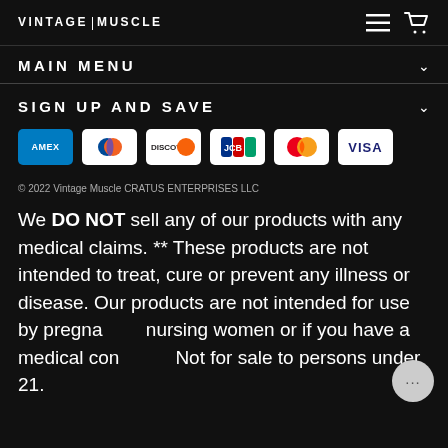VINTAGE | MUSCLE
MAIN MENU
SIGN UP AND SAVE
[Figure (infographic): Payment method logos: AMEX, Diners Club, Discover, JCB, Mastercard, Visa]
© 2022 Vintage Muscle CRATUS ENTERPRISES LLC
We DO NOT sell any of our products with any medical claims. ** These products are not intended to treat, cure or prevent any illness or disease. Our products are not intended for use by pregnant or nursing women or if you have a medical condition. Not for sale to persons under 21.